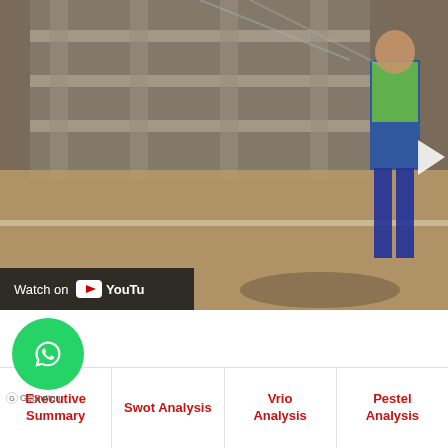[Figure (screenshot): YouTube video thumbnail showing a construction site scene with a person wearing a high-visibility vest and jeans walking near a building under construction. A 'Watch on YouTube' button is visible at the bottom left of the video player.]
[Figure (logo): WhatsApp green circular button with phone icon, with GetButton.io label below]
Executive Summary
Swot Analysis
Vrio Analysis
Pestel Analysis